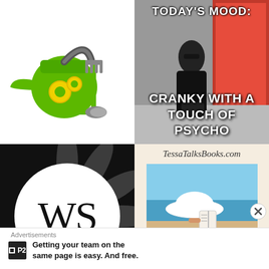[Figure (illustration): Green watering can with yellow circle decorations, a garden rake, and a small trowel — gardening icon on white background]
[Figure (photo): Meme image: woman in black clothes sitting by a red door with sunglasses. Text reads 'TODAY'S MOOD: CRANKY WITH A TOUCH OF PSYCHO']
[Figure (logo): Black circular background with dark leaf/petal pattern and a white circle in center containing the letters 'WS' in serif font]
[Figure (photo): TessaTalksBooks.com blog image: cursive title text above a photo of a person at the beach with a white hat reading a book]
Advertisements
[Figure (logo): P2 logo — small dark square with white square inside, next to 'P2' text in white on dark background]
Getting your team on the same page is easy. And free.